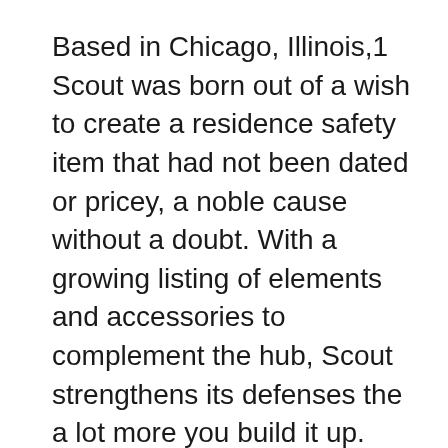Based in Chicago, Illinois,1 Scout was born out of a wish to create a residence safety item that had not been dated or pricey, a noble cause without a doubt. With a growing listing of elements and accessories to complement the hub, Scout strengthens its defenses the a lot more you build it up.
But does extra indicate better? Added components certainly enhance your house's safety and security, but they also increase prices. Some good information for your purse, whether you need a sensor on every door and also home window or you simply need the fundamental basics, Scout's appeal stems from its modification– just how much consumers are prepared to invest on